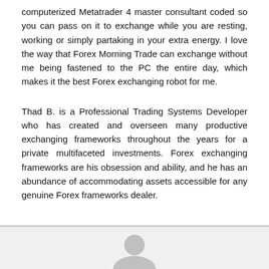computerized Metatrader 4 master consultant coded so you can pass on it to exchange while you are resting, working or simply partaking in your extra energy. I love the way that Forex Morning Trade can exchange without me being fastened to the PC the entire day, which makes it the best Forex exchanging robot for me.
Thad B. is a Professional Trading Systems Developer who has created and overseen many productive exchanging frameworks throughout the years for a private multifaceted investments. Forex exchanging frameworks are his obsession and ability, and he has an abundance of accommodating assets accessible for any genuine Forex frameworks dealer.
[Figure (illustration): Generic user avatar placeholder image — a gray circular head and shoulder silhouette on a light gray background]